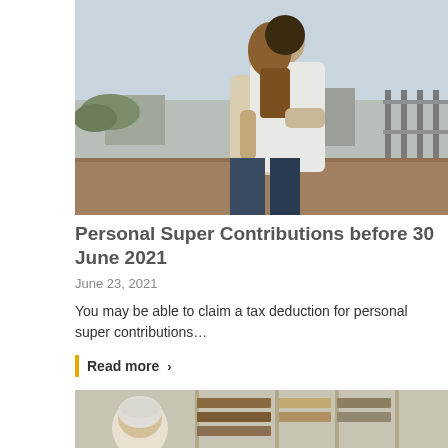[Figure (photo): Couple embracing on a rooftop or terrace, man and woman in light-colored clothing with landscape in background]
Personal Super Contributions before 30 June 2021
June 23, 2021
You may be able to claim a tax deduction for personal super contributions…
Read more >
[Figure (photo): Partial view of a person seated in a room with bookshelves or cabinetry in background]